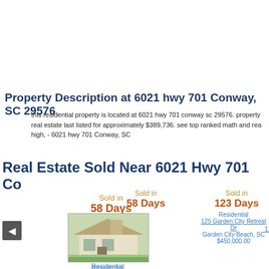Property Description at 6021 hwy 701 Conway, SC 29576
this residential property is located at 6021 hwy 701 conway sc 29576. property real estate last listed for approximately $389,736. see top ranked math and real high, - 6021 hwy 701 Conway, SC
Real Estate Sold Near 6021 Hwy 701 Co
Sold in
58 Days
[Figure (photo): Photo of a residential house at 200 Sherwood Dr]
Residential
200 Sherwood Dr
Sold in
123 Days
Residential
125 Garden City Retreat Dr
Garden City Beach, SC
$450,000.00
Sold in
200 Days
Residential
127 Moultrie Ct
Murrells Inlet, SC
$66,500.00